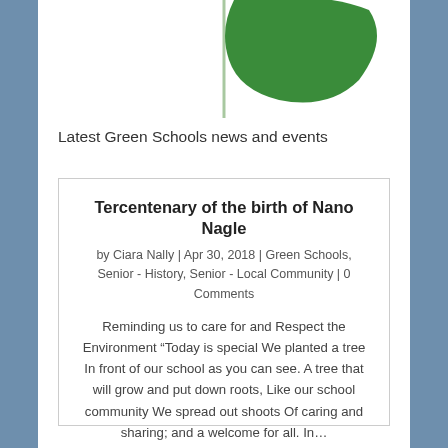[Figure (logo): Partial green leaf/plant logo on a white background, partially cropped at the top of the page]
Latest Green Schools news and events
Tercentenary of the birth of Nano Nagle
by Ciara Nally | Apr 30, 2018 | Green Schools, Senior - History, Senior - Local Community | 0 Comments
Reminding us to care for and Respect the Environment “Today is special We planted a tree In front of our school as you can see. A tree that will grow and put down roots, Like our school community We spread out shoots Of caring and sharing; and a welcome for all. In…